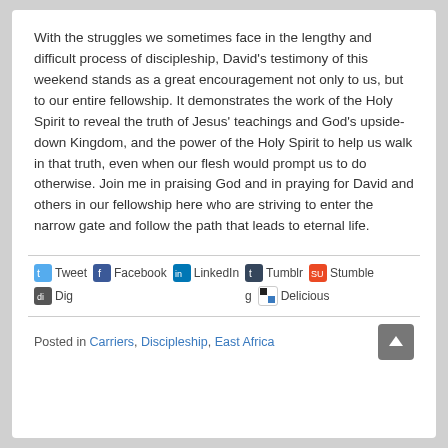With the struggles we sometimes face in the lengthy and difficult process of discipleship, David's testimony of this weekend stands as a great encouragement not only to us, but to our entire fellowship. It demonstrates the work of the Holy Spirit to reveal the truth of Jesus' teachings and God's upside-down Kingdom, and the power of the Holy Spirit to help us walk in that truth, even when our flesh would prompt us to do otherwise. Join me in praising God and in praying for David and others in our fellowship here who are striving to enter the narrow gate and follow the path that leads to eternal life.
[Figure (infographic): Social sharing bar with icons for Tweet, Facebook, LinkedIn, Tumblr, Stumble, Digg, Delicious]
Posted in Carriers, Discipleship, East Africa